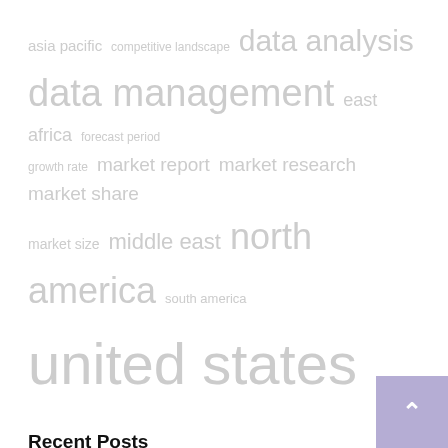[Figure (other): Word cloud with market research related terms in varying font sizes and grey color. Terms include: asia pacific, competitive landscape, data analysis, data management, east africa, forecast period, growth rate, market report, market research, market share, market size, middle east, north america, south america, united states]
Recent Posts
Demand for firearms and ammunition is reaching record highs, but some retailers are squeezed hard by supply chain bottlenecks
Clinical Data Management Market Expected to Grow at a Rapid Rate 2022-2028 | OmniComm Systems, Oracle Corporation, BioClinicia, ERT, PHT Corporation, MedNet Solutions Inc.